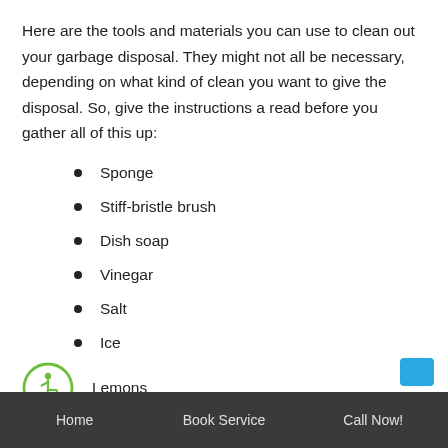Here are the tools and materials you can use to clean out your garbage disposal. They might not all be necessary, depending on what kind of clean you want to give the disposal. So, give the instructions a read before you gather all of this up:
Sponge
Stiff-bristle brush
Dish soap
Vinegar
Salt
Ice
Lemons
Candles
Baking soda
Home   Book Service   Call Now!